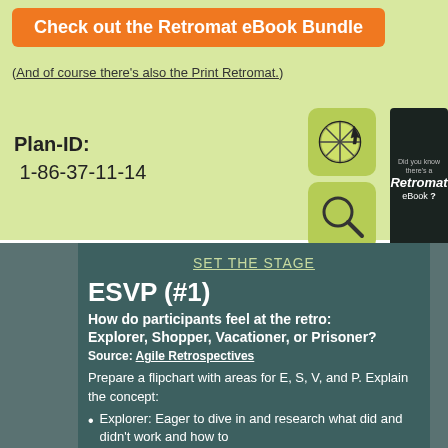[Figure (infographic): Orange button reading 'Check out the Retromat eBook Bundle']
(And of course there's also the Print Retromat.)
Plan-ID:
 1-86-37-11-14
[Figure (illustration): Two green icon boxes: one with a pie/citrus slice icon and cursor, one with a magnifying glass icon]
[Figure (infographic): Dark box: 'Did you know there's a Retromat eBook ?']
SET THE STAGE
ESVP (#1)
How do participants feel at the retro: Explorer, Shopper, Vacationer, or Prisoner?
Source: Agile Retrospectives
Prepare a flipchart with areas for E, S, V, and P. Explain the concept:
Explorer: Eager to dive in and research what did and didn't work and how to